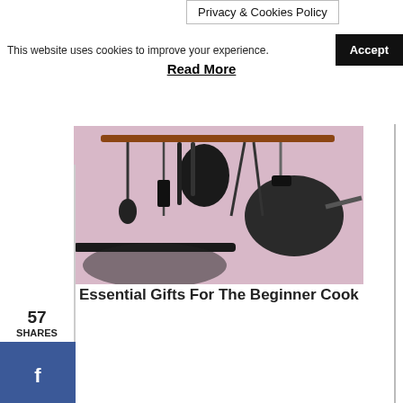Privacy & Cookies Policy
This website uses cookies to improve your experience.
Accept
Read More
[Figure (photo): Overhead photo of cooking utensils and kitchen tools hanging on a rack with a pinkish-purple background]
Essential Gifts For The Beginner Cook
57
SHARES
[Figure (infographic): Facebook share button (blue)]
[Figure (infographic): Twitter share button (light blue)]
[Figure (infographic): Pinterest share button (red)]